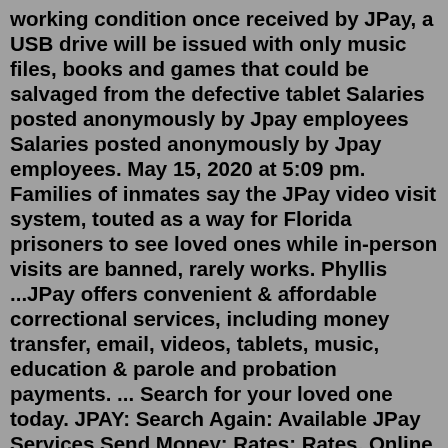working condition once received by JPay, a USB drive will be issued with only music files, books and games that could be salvaged from the defective tablet Salaries posted anonymously by Jpay employees Salaries posted anonymously by Jpay employees. May 15, 2020 at 5:09 pm. Families of inmates say the JPay video visit system, touted as a way for Florida prisoners to see loved ones while in-person visits are banned, rarely works. Phyllis ...JPay offers convenient & affordable correctional services, including money transfer, email, videos, tablets, music, education & parole and probation payments. ... Search for your loved one today. JPAY: Search Again: Available JPay Services Send Money: Rates: Rates. Online $ .00-20.00 : $0.05 $ 20.01-100.00 : $0.05 $ 100.01-200.00 : $0.05 $ 200 ...Nov 05, 2010 · Strengthening Connections through Money Transfer. For support, email support@jpay.com. Visit for consumer disclosures: https://t.co/mVQZat2iUi Jul 15, 2022 · After today's technology release, both iOS